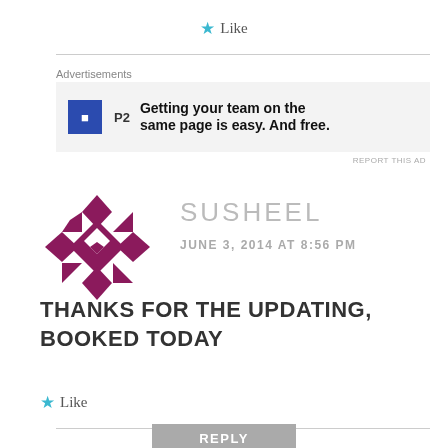★ Like
Advertisements
[Figure (other): P2 advertisement banner: icon with P2 label and text 'Getting your team on the same page is easy. And free.']
REPORT THIS AD
[Figure (logo): Geometric diamond/cross pattern avatar logo in purple/maroon color for user SUSHEEL]
SUSHEEL
JUNE 3, 2014 AT 8:56 PM
THANKS FOR THE UPDATING, BOOKED TODAY
★ Like
REPLY